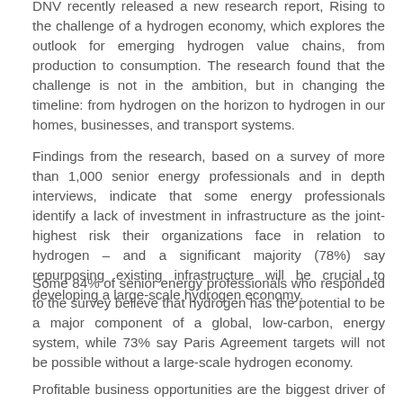DNV recently released a new research report, Rising to the challenge of a hydrogen economy, which explores the outlook for emerging hydrogen value chains, from production to consumption. The research found that the challenge is not in the ambition, but in changing the timeline: from hydrogen on the horizon to hydrogen in our homes, businesses, and transport systems.
Findings from the research, based on a survey of more than 1,000 senior energy professionals and in depth interviews, indicate that some energy professionals identify a lack of investment in infrastructure as the joint-highest risk their organizations face in relation to hydrogen – and a significant majority (78%) say repurposing existing infrastructure will be crucial to developing a large-scale hydrogen economy.
Some 84% of senior energy professionals who responded to the survey believe that hydrogen has the potential to be a major component of a global, low-carbon, energy system, while 73% say Paris Agreement targets will not be possible without a large-scale hydrogen economy.
Profitable business opportunities are the biggest driver of involvement in hydrogen, while infrastructure and costs are...